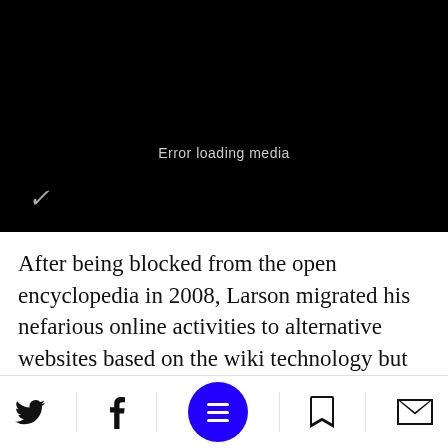[Figure (screenshot): Black video player screen showing 'Error loading media' text in center, with a Verizon checkmark logo in the bottom-left corner]
After being blocked from the open encyclopedia in 2008, Larson migrated his nefarious online activities to alternative websites based on the wiki technology but not officially endorsed by Wikimedia
[Figure (other): Bottom navigation bar with Twitter, Facebook, hamburger menu (blue circle), bookmark, and mail icons]